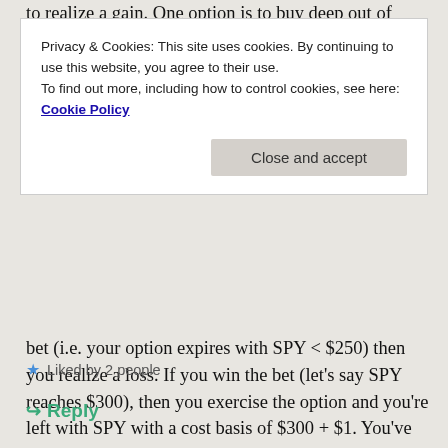to realize a gain. One option is to buy deep out of
Privacy & Cookies: This site uses cookies. By continuing to use this website, you agree to their use.
To find out more, including how to control cookies, see here: Cookie Policy
Close and accept
bet (i.e. your option expires with SPY < $250) then you realize a loss. If you win the bet (let's say SPY reaches $300), then you exercise the option and you're left with SPY with a cost basis of $300 + $1. You've won the bet and had an unrealized gain. You repeatedly make these bets until your losses (from worthless expired options) reach the desired loss amount.
Liked by 2 people
Reply